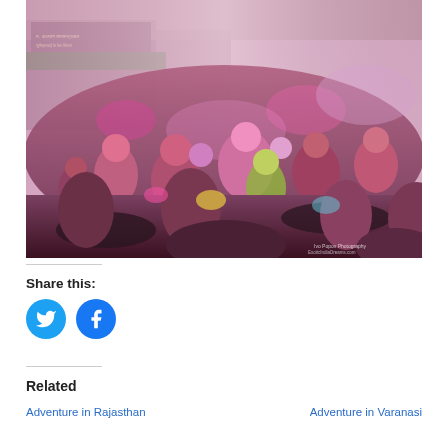[Figure (photo): A crowded street scene during Holi festival in India. People are covered in pink, red, and yellow colored powder, riding motorcycles and celebrating in a busy market street. Shop signs with Hindi text visible in the background. Photo credit: Ivo Popov Photography / ExoticIndiaDreams.com]
Share this:
[Figure (other): Twitter and Facebook social share icon buttons (blue circles with white bird and f icons)]
Related
Adventure in Rajasthan
Adventure in Varanasi